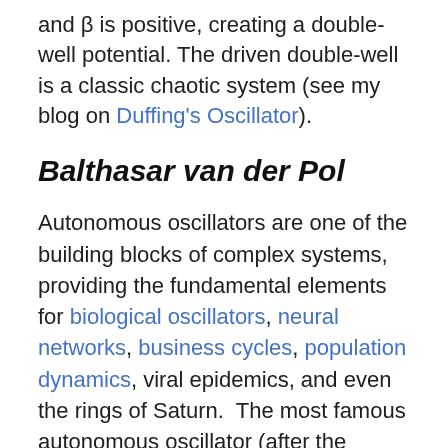and β is positive, creating a double-well potential. The driven double-well is a classic chaotic system (see my blog on Duffing's Oscillator).
Balthasar van der Pol
Autonomous oscillators are one of the building blocks of complex systems, providing the fundamental elements for biological oscillators, neural networks, business cycles, population dynamics, viral epidemics, and even the rings of Saturn.  The most famous autonomous oscillator (after the pendulum clock) is named for a Dutch physicist, Balthasar van der Pol (1889 – 1959), who discovered the laws that govern how electrons oscillate in vacuum tubes, but the dynamical system that he developed has expanded to become the new